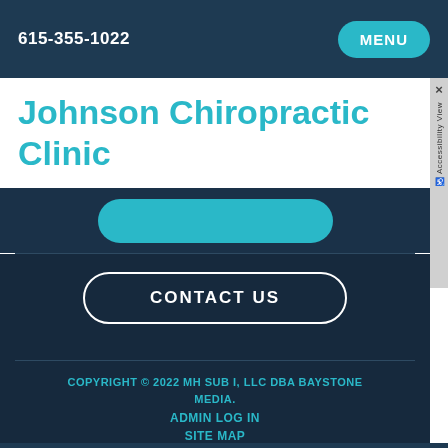615-355-1022
MENU
Johnson Chiropractic Clinic
CONTACT US
COPYRIGHT © 2022 MH SUB I, LLC DBA BAYSTONE MEDIA. ADMIN LOG IN SITE MAP